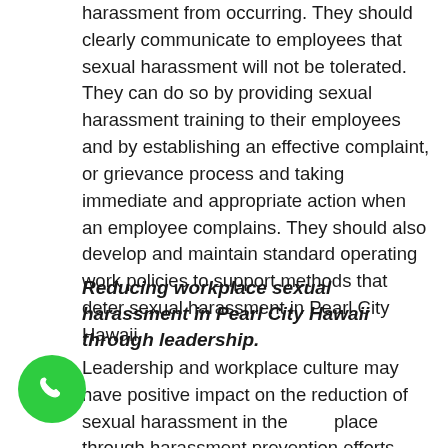harassment from occurring. They should clearly communicate to employees that sexual harassment will not be tolerated. They can do so by providing sexual harassment training to their employees and by establishing an effective complaint, or grievance process and taking immediate and appropriate action when an employee complains. They should also develop and maintain standard operating work policies to support methods that deter sexual harassment in Pearl City Hawaii.
Reducing workplace sexual harassment in Pearl City Hawaii through leadership.
Leadership and workplace culture may have positive impact on the reduction of sexual harassment in the workplace through harassment prevention efforts that include standard operating policies with outlined procedures for reporting and taking of accountability...